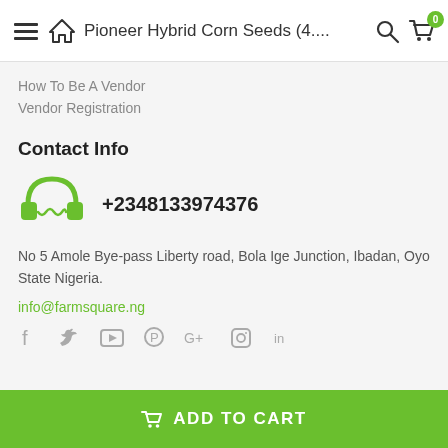Pioneer Hybrid Corn Seeds (4....
How To Be A Vendor
Vendor Registration
Contact Info
+2348133974376
No 5 Amole Bye-pass Liberty road, Bola Ige Junction, Ibadan, Oyo State Nigeria.
info@farmsquare.ng
Social icons: Facebook, Twitter, YouTube, Pinterest, Google+, Instagram, LinkedIn
ADD TO CART